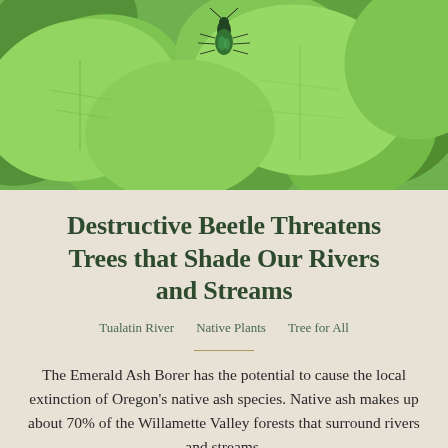[Figure (photo): Close-up photograph of a metallic green Emerald Ash Borer beetle resting on large green leaves with blurred green foliage in the background.]
Destructive Beetle Threatens Trees that Shade Our Rivers and Streams
Tualatin River   Native Plants   Tree for All
The Emerald Ash Borer has the potential to cause the local extinction of Oregon's native ash species. Native ash makes up about 70% of the Willamette Valley forests that surround rivers and streams.